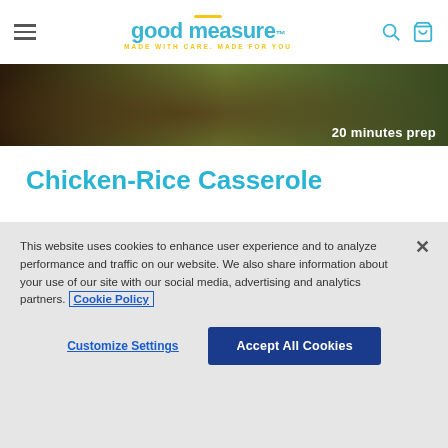good measure — MADE WITH CARE. MADE FOR YOU
[Figure (photo): Top partial view of a chicken-rice casserole dish with text overlay '20 minutes prep']
Chicken-Rice Casserole
Sometimes a hearty home-cooked meal is exactly what you want for dinner. When you want to keep it nutritious, check out this chicken and rice casserole (or hot dish, depending on where you're from).
This website uses cookies to enhance user experience and to analyze performance and traffic on our website. We also share information about your use of our site with our social media, advertising and analytics partners. Cookie Policy
Customize Settings | Accept All Cookies